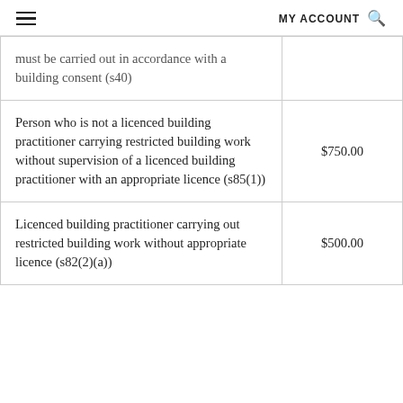MY ACCOUNT
| Offence | Fine |
| --- | --- |
| ...must be carried out in accordance with a building consent (s40) |  |
| Person who is not a licenced building practitioner carrying restricted building work without supervision of a licenced building practitioner with an appropriate licence (s85(1)) | $750.00 |
| Licenced building practitioner carrying out restricted building work without appropriate licence (s82(2)(a)) | $500.00 |